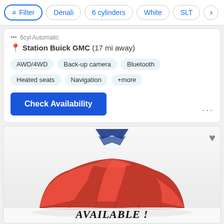Filter | Denali | 6 cylinders | White | SLT
Station Buick GMC (17 mi away)
AWD/4WD
Back-up camera
Bluetooth
Heated seats
Navigation
+more
Check Availability
[Figure (photo): A car covered with a red satin cloth/drape, with a blue chevron-style logo at the top and 'AVAILABLE!' text at the bottom]